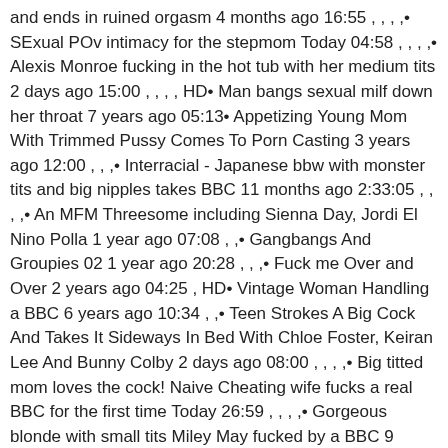and ends in ruined orgasm 4 months ago 16:55 , , , ,• SExual POv intimacy for the stepmom Today 04:58 , , , ,• Alexis Monroe fucking in the hot tub with her medium tits 2 days ago 15:00 , , , , HD• Man bangs sexual milf down her throat 7 years ago 05:13• Appetizing Young Mom With Trimmed Pussy Comes To Porn Casting 3 years ago 12:00 , , ,• Interracial - Japanese bbw with monster tits and big nipples takes BBC 11 months ago 2:33:05 , , , ,• An MFM Threesome including Sienna Day, Jordi El Nino Polla 1 year ago 07:08 , ,• Gangbangs And Groupies 02 1 year ago 20:28 , , ,• Fuck me Over and Over 2 years ago 04:25 , HD• Vintage Woman Handling a BBC 6 years ago 10:34 , ,• Teen Strokes A Big Cock And Takes It Sideways In Bed With Chloe Foster, Keiran Lee And Bunny Colby 2 days ago 08:00 , , , ,• Big titted mom loves the cock! Naive Cheating wife fucks a real BBC for the first time Today 26:59 , , , ,• Gorgeous blonde with small tits Miley May fucked by a BBC 9 months ago 14:59 HD• 3 months ago 11:09 , , , ,• Big cock retro vintage 8 years ago 04:24• Mature blonde sucks dick then gets pussy licked and fucked 7 years ago 28:03 , ,• Sarah Young threesome memories 2 weeks ago 10:00 , , , ,• Mature likes BBC 1 year